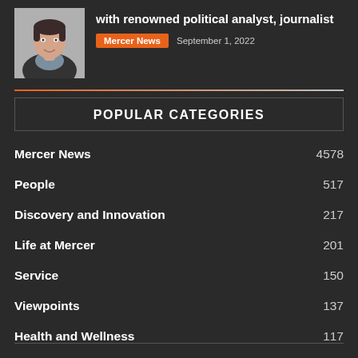[Figure (photo): Headshot photo of a woman in dark jacket smiling]
with renowned political analyst, journalist
Mercer News  September 1, 2022
POPULAR CATEGORIES
Mercer News  4578
People  517
Discovery and Innovation  217
Life at Mercer  201
Service  150
Viewpoints  137
Health and Wellness  117